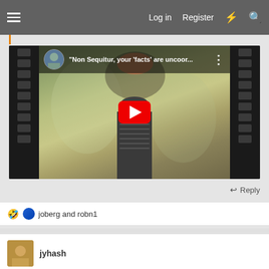Log in  Register
[Figure (screenshot): YouTube video embed thumbnail showing a sci-fi scene with filmstrip borders on sides, a central dark device/robot, swirly patterned panels in background, and a red YouTube play button in center. Video title: "Non Sequitur, your 'facts' are uncoor..."]
Reply
joberg and robn1
jyhash